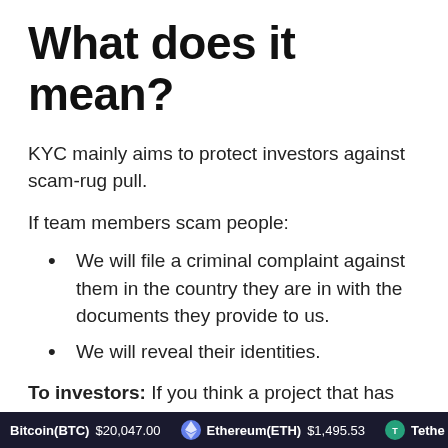What does it mean?
KYC mainly aims to protect investors against scam-rug pull.
If team members scam people:
We will file a criminal complaint against them in the country they are in with the documents they provide to us.
We will reveal their identities.
To investors: If you think a project that has
Bitcoin(BTC) $20,047.00  Ethereum(ETH) $1,495.53  Tethe